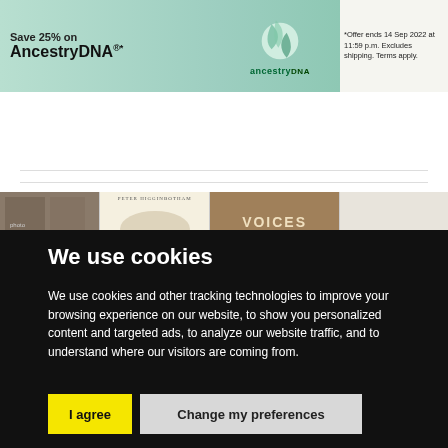[Figure (screenshot): AncestryDNA advertisement banner showing 'Save 25% on AncestryDNA' offer with green background, DNA logo, and offer terms '*Offer ends 14 Sep 2022 at 11:59 p.m. Excludes shipping. Terms apply.']
[Figure (screenshot): Partial view of book covers strip below the banner]
We use cookies
We use cookies and other tracking technologies to improve your browsing experience on our website, to show you personalized content and targeted ads, to analyze our website traffic, and to understand where our visitors are coming from.
I agree
Change my preferences